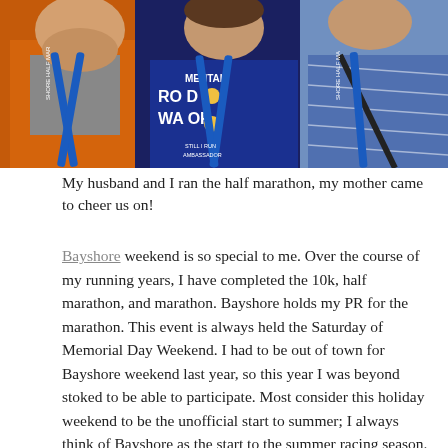[Figure (photo): Three people wearing blue lanyards that read 'Shore Half Marathon'. The person in the center wears a navy blue shirt with 'Road Warrior' text. The person on the left wears an orange jacket, and the person on the right wears a blue patterned top.]
My husband and I ran the half marathon, my mother came to cheer us on!
Bayshore weekend is so special to me. Over the course of my running years, I have completed the 10k, half marathon, and marathon. Bayshore holds my PR for the marathon. This event is always held the Saturday of Memorial Day Weekend. I had to be out of town for Bayshore weekend last year, so this year I was beyond stoked to be able to participate. Most consider this holiday weekend to be the unofficial start to summer; I always think of Bayshore as the start to the summer racing season.